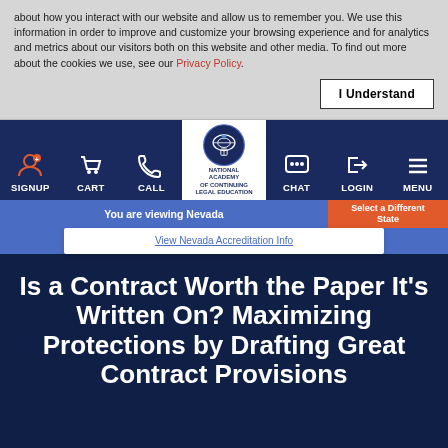about how you interact with our website and allow us to remember you. We use this information in order to improve and customize your browsing experience and for analytics and metrics about our visitors both on this website and other media. To find out more about the cookies we use, see our Privacy Policy.
[Figure (screenshot): Navigation bar with SIGNUP, CART, CALL, National Academy of Continuing Legal Education logo, CHAT, LOGIN, MENU]
You are viewing Nevada
Select a Different State
View Nevada Accreditation Info
Is a Contract Worth the Paper It's Written On? Maximizing Protections by Drafting Great Contract Provisions